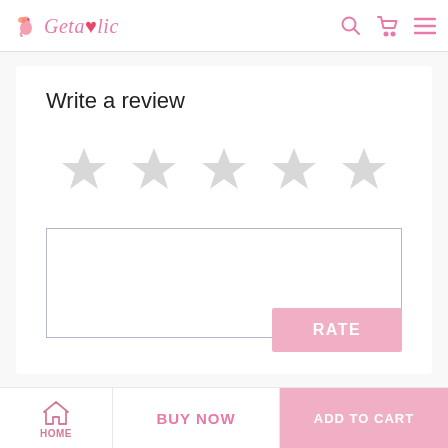Getaholic
Write a review
[Figure (other): Five empty (unselected) star rating icons arranged in a horizontal row for user rating input]
[Figure (other): Empty text area input box for writing a review]
RATE
HOME   BUY NOW   ADD TO CART